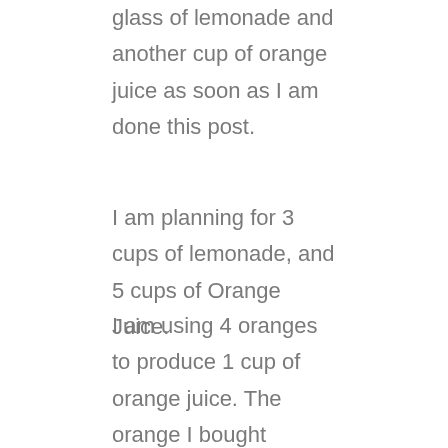glass of lemonade and another cup of orange juice as soon as I am done this post.
I am planning for 3 cups of lemonade, and 5 cups of Orange Juice.
I am using 4 oranges to produce 1 cup of orange juice. The orange I bought (organic from whole foods), came in a bag of 12. I bought 2 bags, and today realized I would need more for the two of us. The bags of orange were $5 each.